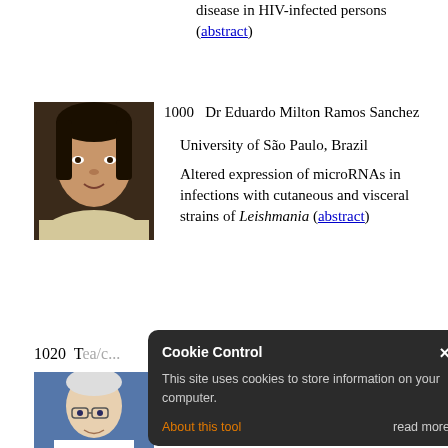disease in HIV-infected persons (abstract)
1000   Dr Eduardo Milton Ramos Sanchez
University of São Paulo, Brazil
Altered expression of microRNAs in infections with cutaneous and visceral strains of Leishmania (abstract)
[Figure (photo): Headshot photo of Dr Eduardo Milton Ramos Sanchez]
1020   Keynote Speaker: Prof Stephen
University College Dublin, Ireland
[Figure (photo): Headshot photo of Prof Stephen]
Cookie Control
This site uses cookies to store information on your computer.
About this tool
read more